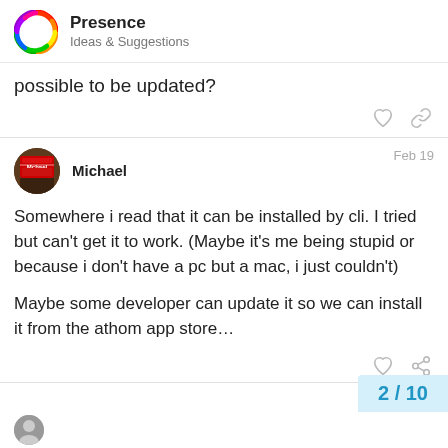Presence — Ideas & Suggestions
possible to be updated?
Michael   Feb 19
Somewhere i read that it can be installed by cli. I tried but can't get it to work. (Maybe it's me being stupid or because i don't have a pc but a mac, i just couldn't)

Maybe some developer can update it so we can install it from the athom app store…
2 / 10